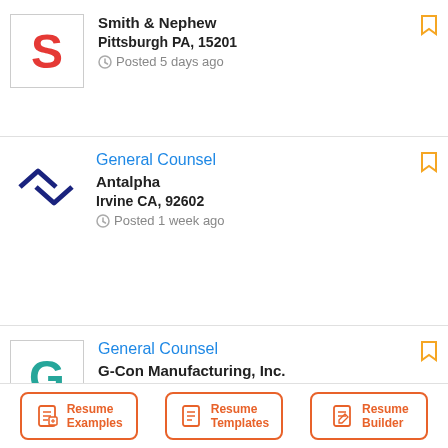Smith & Nephew, Pittsburgh PA, 15201, Posted 5 days ago
General Counsel, Antalpha, Irvine CA, 92602, Posted 1 week ago
General Counsel, G-Con Manufacturing, Inc., Houston TX, 77020, Posted 2 weeks ago
General Counsel, Astralabs, Austin TX, 78700
[Figure (screenshot): Bottom navigation bar with three buttons: Resume Examples, Resume Templates, Resume Builder, each with an orange border and icon.]